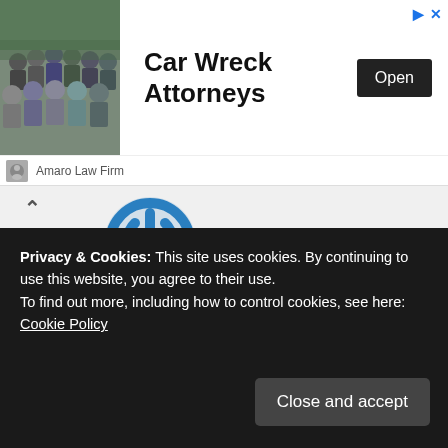[Figure (photo): Car Wreck Attorneys advertisement banner with group photo and Open button. Sponsored by Amaro Law Firm.]
Car Wreck Attorneys
Open
Amaro Law Firm
[Figure (logo): Blue circular power-button style logo icon for commenter avatar]
Jessica Sommers says:
August 5, 2016 at 1:28 pm
I love pastels with lilac , peach splash of yellow , a dusty pink and a hint of mint. With any patterns floral , geometric , and batik
Privacy & Cookies: This site uses cookies. By continuing to use this website, you agree to their use.
To find out more, including how to control cookies, see here: Cookie Policy
Close and accept